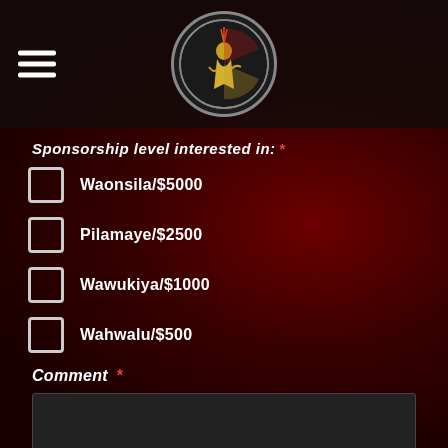[Figure (logo): Circular logo for The Tipi Raisers organization with a Native American warrior figure on a dark background with red and yellow accents]
Sponsorship level interested in: *
Waonsila/$5000
Pilamaye/$2500
Wawukiya/$1000
Wahwalu/$500
Comment *